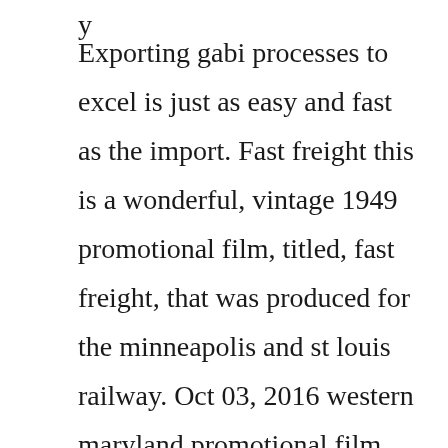Exporting gabi processes to excel is just as easy and fast as the import. Fast freight this is a wonderful, vintage 1949 promotional film, titled, fast freight, that was produced for the minneapolis and st louis railway. Oct 03, 2016 western maryland promotional film from the 1950s. The film was not released in the us, due to arbuckles involvement in the virginia rappe scandal. The fast freight shipping company charges the rates the. Fast freight is a 1929 american short silent comedy film. Pioneer woman 1973 was released on video as